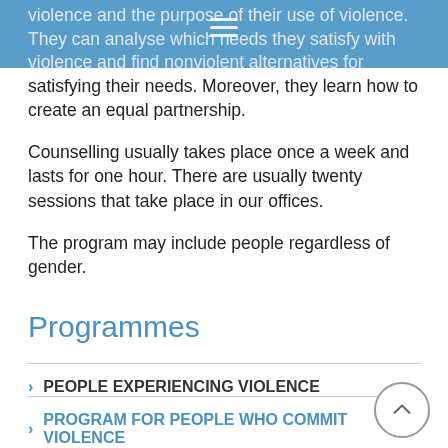violence and the purpose of their use of violence. They can analyse which needs they satisfy with violence and find nonviolent alternatives for satisfying their needs. Moreover, they learn how to create an equal partnership.
Counselling usually takes place once a week and lasts for one hour. There are usually twenty sessions that take place in our offices.
The program may include people regardless of gender.
Programmes
PEOPLE EXPERIENCING VIOLENCE
PROGRAM FOR PEOPLE WHO COMMIT VIOLENCE